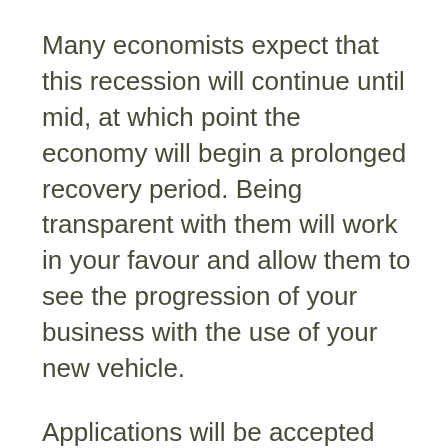Many economists expect that this recession will continue until mid, at which point the economy will begin a prolonged recovery period. Being transparent with them will work in your favour and allow them to see the progression of your business with the use of your new vehicle.
Applications will be accepted until the position is filled. Use PlanMagic Restaurant for the startup of a restaurant, bistro, cafeteria, pizzeria, or any kind of restaurant, or for analyzing and improving even rescuing the financial situation of an existing restaurant business. Use simple language in explaining the issues.
Works to keep all projects on time and on budget, looks for ways to improve processes and procedures, and is responsible for maintaining and exceeding department